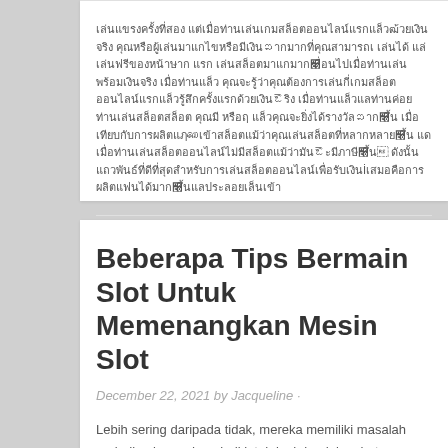[Thai script paragraph — body text of a blog post]
Filed Under: Casino ·
Beberapa Tips Bermain Slot Untuk Memenangkan Mesin Slot
December 22, 2021 by Jacqueline ·
Lebih sering daripada tidak, mereka memiliki masalah perjudian kecanduan judi jatuh jauh ke dalam hutang. Utang menjadi kes melampaui uang ke kasino. Sebaliknya, kecanduan judi dapat m kartu kredit utama, hutang pinjaman, dan bahkan ekstremitas (n sepenuhnya tidak pernah terdengar) seperti kewajiban keuanga